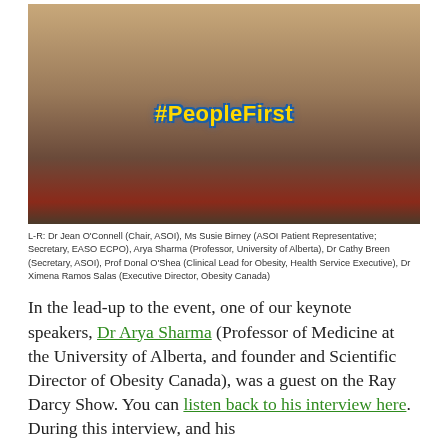[Figure (photo): Group photo of six people at a conference, one person holding a sign reading #PeopleFirst]
L-R: Dr Jean O'Connell (Chair, ASOI), Ms Susie Birney (ASOI Patient Representative; Secretary, EASO ECPO), Arya Sharma (Professor, University of Alberta), Dr Cathy Breen (Secretary, ASOI), Prof Donal O'Shea (Clinical Lead for Obesity, Health Service Executive), Dr Ximena Ramos Salas (Executive Director, Obesity Canada)
In the lead-up to the event, one of our keynote speakers, Dr Arya Sharma (Professor of Medicine at the University of Alberta, and founder and Scientific Director of Obesity Canada), was a guest on the Ray Darcy Show. You can listen back to his interview here. During this interview, and his